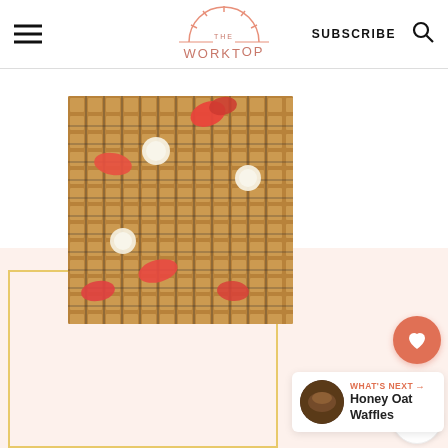THE WORKTOP — SUBSCRIBE
[Figure (photo): Overhead view of waffles topped with strawberries and banana slices on a wire cooling rack]
421
WHAT'S NEXT → Honey Oat Waffles